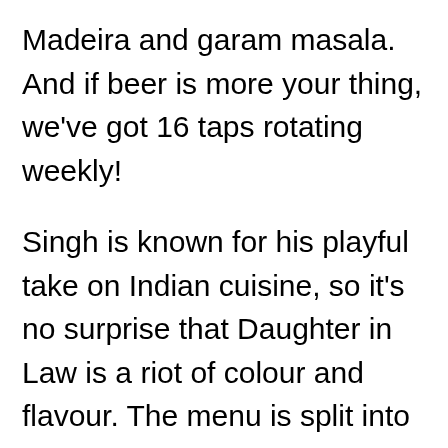Madeira and garam masala. And if beer is more your thing, we've got 16 taps rotating weekly!
Singh is known for his playful take on Indian cuisine, so it's no surprise that Daughter in Law is a riot of colour and flavour. The menu is split into snacks, small plates, larger plates and desserts – with plenty of vegetarian and vegan options. Highlights include the pakoras (vegetable fritters), butter chick…